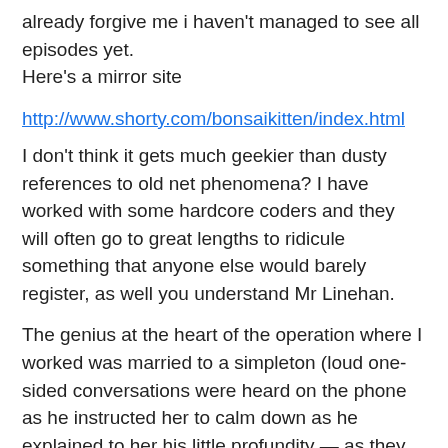already forgive me i haven't managed to see all episodes yet.
Here's a mirror site
http://www.shorty.com/bonsaikitten/index.html
I don't think it gets much geekier than dusty references to old net phenomena? I have worked with some hardcore coders and they will often go to great lengths to ridicule something that anyone else would barely register, as well you understand Mr Linehan.
The genius at the heart of the operation where I worked was married to a simpleton (loud one-sided conversations were heard on the phone as he instructed her to calm down as he explained to her his little profundity — as they roam the